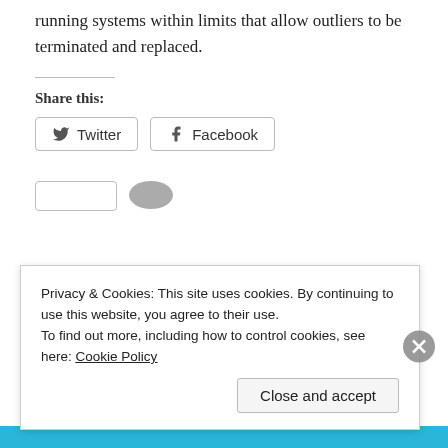running systems within limits that allow outliers to be terminated and replaced.
Share this:
[Figure (screenshot): Twitter and Facebook share buttons with icons]
Privacy & Cookies: This site uses cookies. By continuing to use this website, you agree to their use.
To find out more, including how to control cookies, see here: Cookie Policy
Close and accept